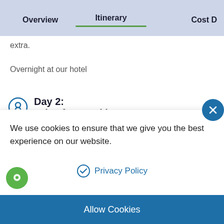Overview | Itinerary | Cost D
extra.
Overnight at our hotel
Day 2:
Drive from Pokhara to Jomsom
Day 3:
Drive from Jomsom to Muktinath
We use cookies to ensure that we give you the best experience on our website.
Privacy Policy
Allow Cookies